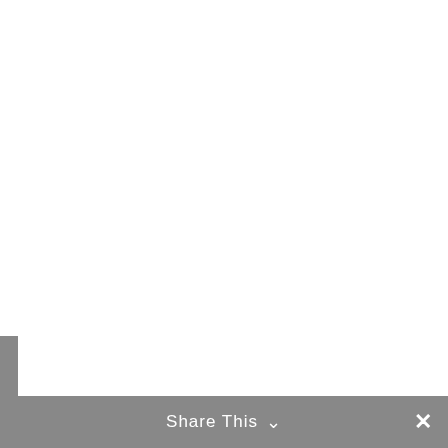al l Rogue Gallery & Art Center's post
Share This ∨  ✕